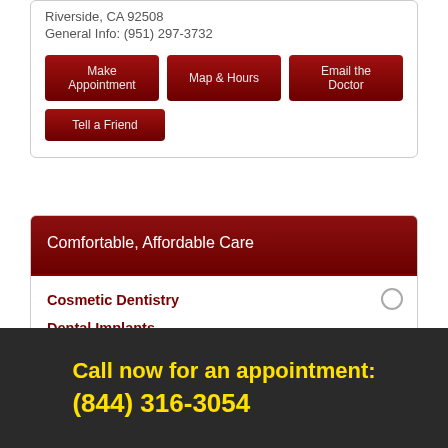Riverside, CA 92508
General Info: (951) 297-3732
Make Appointment
Map & Hours
Email the Doctor
Tell a Friend
Comfortable, Affordable Care
Cosmetic Dentistry
Dental Implants
Dentures
Invisalign
Call now for an appointment: (844) 316-3054